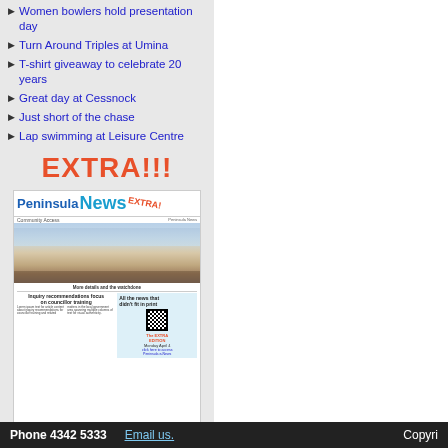Women bowlers hold presentation day
Turn Around Triples at Umina
T-shirt giveaway to celebrate 20 years
Great day at Cessnock
Just short of the chase
Lap swimming at Leisure Centre
EXTRA!!!
[Figure (illustration): Thumbnail of Peninsula News EXTRA newspaper cover showing beach photo and headlines about inquiry recommendations on councillor training]
[Download]
Phone 4342 5333    Email us.    Copyri…